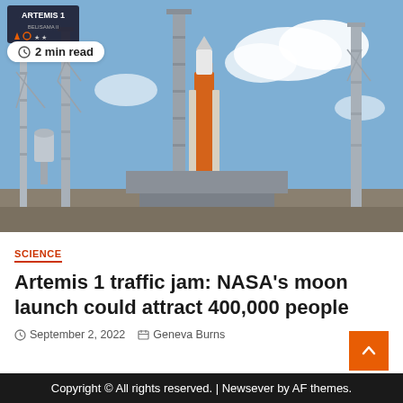[Figure (photo): NASA Artemis 1 rocket on launch pad with tall steel towers and blue sky with clouds. Badge overlay top-left reading 'ARTEMIS 1' and '2 min read'.]
SCIENCE
Artemis 1 traffic jam: NASA's moon launch could attract 400,000 people
September 2, 2022   Geneva Burns
Copyright © All rights reserved. | Newsever by AF themes.